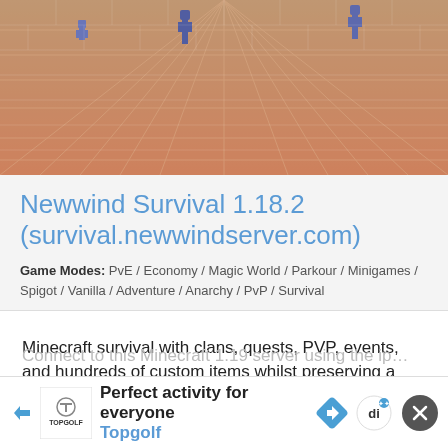[Figure (screenshot): Minecraft game screenshot showing a brick/tile floor with blue player figures in a 3D perspective view, orange-red brick texture]
Newwind Survival 1.18.2 (survival.newwindserver.com)
Game Modes: PvE / Economy / Magic World / Parkour / Minigames / Spigot / Vanilla / Adventure / Anarchy / PvP / Survival
Minecraft survival with clans, quests, PVP, events, and hundreds of custom items whilst preserving a vanilla feel.
- There are basically no rules except do not hack or exploit.
- There is no land claim.
- There are no moderators/helpers…
Connect to this Minecraft 1.19 server using the ip…
[Figure (infographic): Advertisement banner for Topgolf. Shows Topgolf logo, text 'Perfect activity for everyone' and 'Topgolf' in blue, navigation arrow icon, 'di' icon badge, and a close X button]